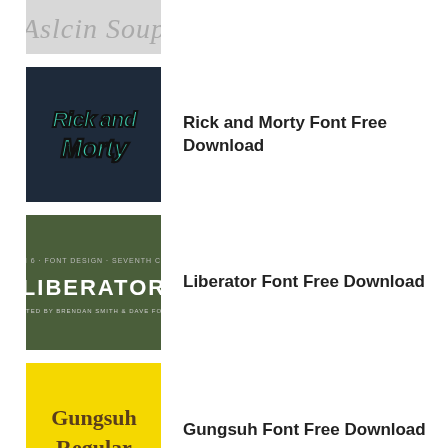[Figure (illustration): Partial cropped thumbnail of a font preview on grey background]
[Figure (illustration): Rick and Morty font logo on dark navy background]
Rick and Morty Font Free Download
[Figure (illustration): Liberator font preview on dark olive green background]
Liberator Font Free Download
[Figure (illustration): Gungsuh Regular font preview on yellow background]
Gungsuh Font Free Download
[Figure (illustration): Straight Outta Compton font preview on white background]
Straight Outta Compton Font Free Download